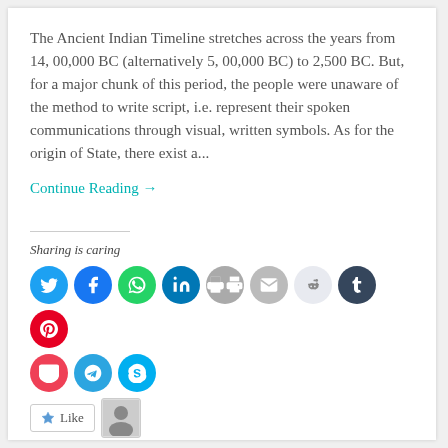The Ancient Indian Timeline stretches across the years from 14, 00,000 BC (alternatively 5, 00,000 BC) to 2,500 BC. But, for a major chunk of this period, the people were unaware of the method to write script, i.e. represent their spoken communications through visual, written symbols. As for the origin of State, there exist a...
Continue Reading →
Sharing is caring
[Figure (infographic): Row of social media sharing icons: Twitter, Facebook, WhatsApp, LinkedIn, Print, Email, Reddit, Tumblr, Pinterest, then second row: Pocket, Telegram, Skype]
One blogger likes this.